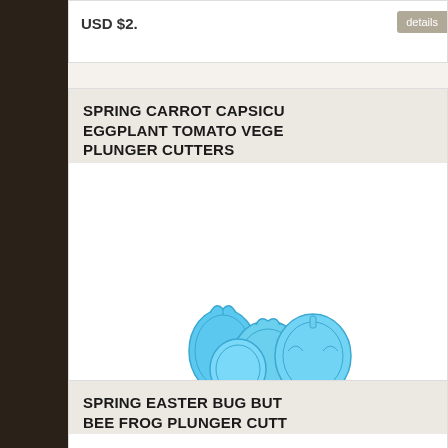[Figure (other): Top partial product card showing price area and details button]
SPRING CARROT CAPSICUM EGGPLANT TOMATO VEGETABLE PLUNGER CUTTERS
[Figure (photo): Blue plastic vegetable shaped plunger cutters]
Carrot Capsicum Eggplant Tomato Plunger Cutters ...
Weight :
USD $4.04
SPRING EASTER BUG BUTTERFLY BEE FROG PLUNGER CUTTERS